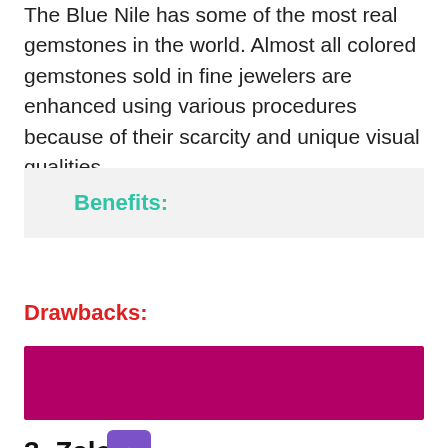The Blue Nile has some of the most real gemstones in the world. Almost all colored gemstones sold in fine jewelers are enhanced using various procedures because of their scarcity and unique visual qualities.
Benefits:
Drawbacks:
[Figure (other): Solid magenta/dark pink horizontal bar, decorative section divider]
3. Zales
Number 3